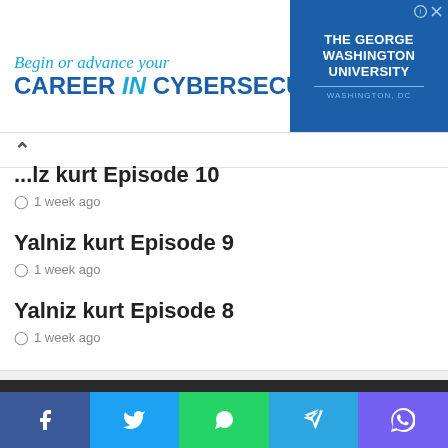[Figure (other): Advertisement banner for The George Washington University Cybersecurity program. Text: 'Begin or advance your CAREER in CYBERSECURITY'. Logo on right side with university name and Washington DC.]
...lz kurt Episode 10
1 week ago
Yalniz kurt Episode 9
1 week ago
Yalniz kurt Episode 8
1 week ago
About
This website is about history and we will provide you information with
Social share buttons: Facebook, Twitter, WhatsApp, Telegram, Viber